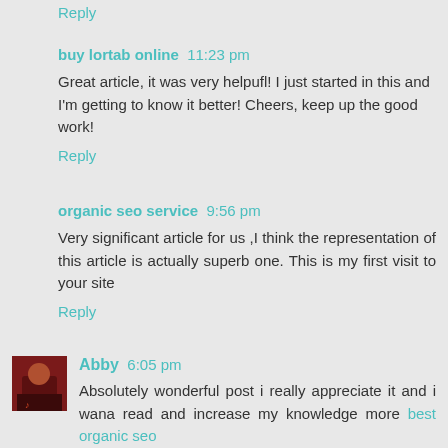Reply
buy lortab online  11:23 pm
Great article, it was very helpufl! I just started in this and I'm getting to know it better! Cheers, keep up the good work!
Reply
organic seo service  9:56 pm
Very significant article for us ,I think the representation of this article is actually superb one. This is my first visit to your site
Reply
Abby  6:05 pm
Absolutely wonderful post i really appreciate it and i wana read and increase my knowledge more  best organic seo